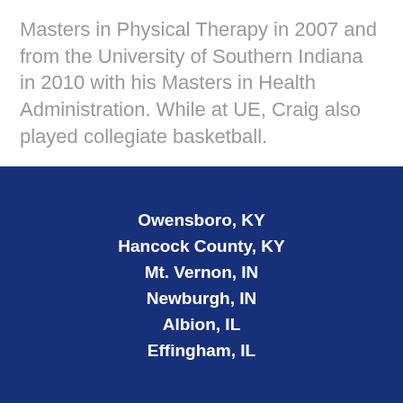Masters in Physical Therapy in 2007 and from the University of Southern Indiana in 2010 with his Masters in Health Administration. While at UE, Craig also played collegiate basketball.
Owensboro, KY
Hancock County, KY
Mt. Vernon, IN
Newburgh, IN
Albion, IL
Effingham, IL